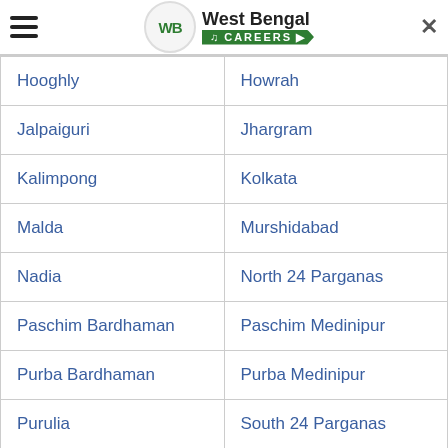West Bengal Careers
| Hooghly | Howrah |
| Jalpaiguri | Jhargram |
| Kalimpong | Kolkata |
| Malda | Murshidabad |
| Nadia | North 24 Parganas |
| Paschim Bardhaman | Paschim Medinipur |
| Purba Bardhaman | Purba Medinipur |
| Purulia | South 24 Parganas |
| Uttar Dinajpur |  |